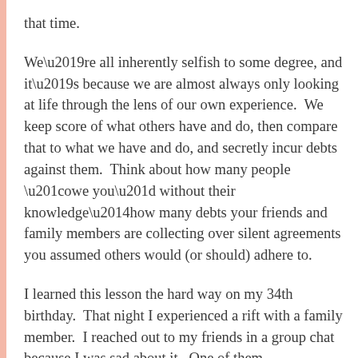that time.
We’re all inherently selfish to some degree, and it’s because we are almost always only looking at life through the lens of our own experience. We keep score of what others have and do, then compare that to what we have and do, and secretly incur debts against them. Think about how many people “owe you” without their knowledge—how many debts your friends and family members are collecting over silent agreements you assumed others would (or should) adhere to.
I learned this lesson the hard way on my 34th birthday. That night I experienced a rift with a family member. I reached out to my friends in a group chat because I was sad about it. One of them